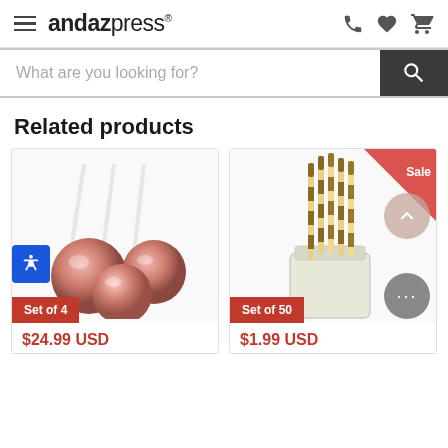andazpress
What are you looking for?
Related products
[Figure (photo): Product card showing rose gold metallic ball cake pops, Set of 4, priced at $24.99 USD]
[Figure (photo): Product card showing gold striped paper straws in a jar, Set of 50, Sale badge, priced at $1.99 USD]